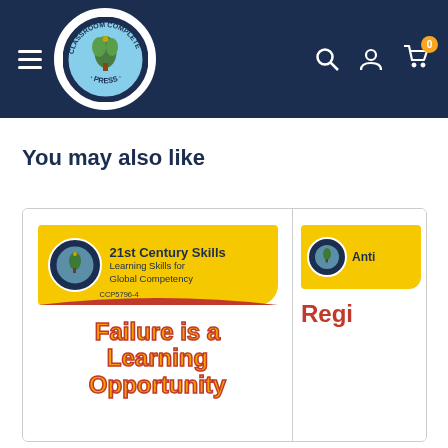[Figure (logo): Classroom Complete Press logo in circular badge with navigation header on dark navy background]
You may also like
[Figure (illustration): Book product card: '21st Century Skills - Learning Skills for Global Competency' with title 'Failure is a Learning Opportunity']
[Figure (illustration): Partial book product card on right side showing 'Anti...' banner and 'Regi...' title text]